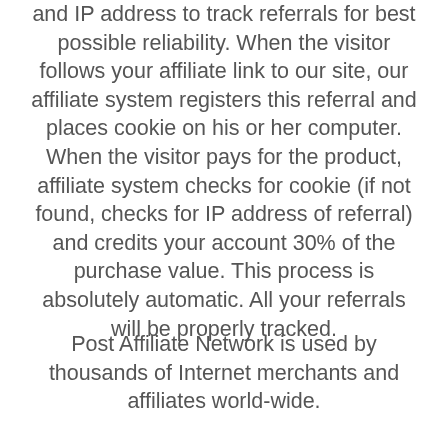and IP address to track referrals for best possible reliability. When the visitor follows your affiliate link to our site, our affiliate system registers this referral and places cookie on his or her computer. When the visitor pays for the product, affiliate system checks for cookie (if not found, checks for IP address of referral) and credits your account 30% of the purchase value. This process is absolutely automatic. All your referrals will be properly tracked.
Post Affiliate Network is used by thousands of Internet merchants and affiliates world-wide.